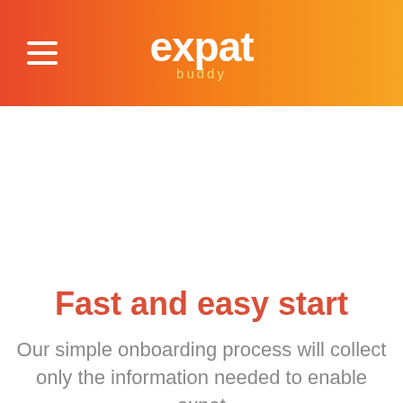expat buddy
Fast and easy start
Our simple onboarding process will collect only the information needed to enable expat